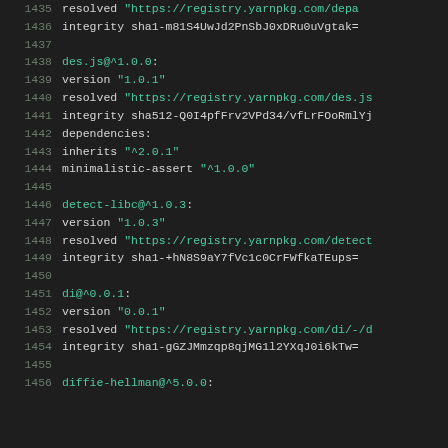Code listing: yarn.lock file excerpt, lines 1435-1456, showing package entries for des.js, detect-libc, di, and diffie-hellman